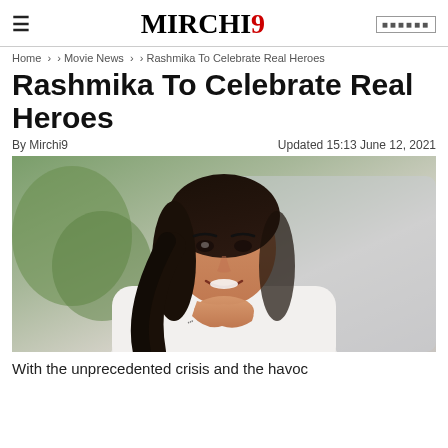MIRCHI9
Home > › Movie News > › Rashmika To Celebrate Real Heroes
Rashmika To Celebrate Real Heroes
By Mirchi9   Updated 15:13 June 12, 2021
[Figure (photo): Smiling young woman with long black hair, resting chin on hand, wearing a white top, with greenery and blurred background]
With the unprecedented crisis and the havoc